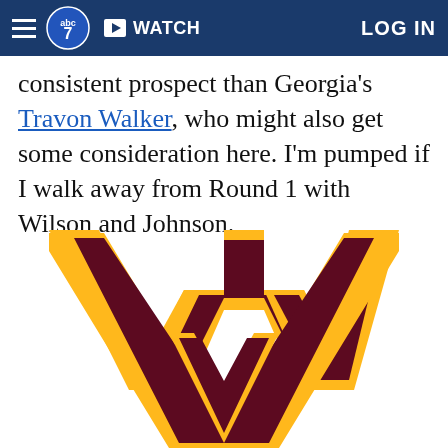ABC7 — WATCH — LOG IN
consistent prospect than Georgia's Travon Walker, who might also get some consideration here. I'm pumped if I walk away from Round 1 with Wilson and Johnson.
[Figure (logo): Washington Commanders 'W' logo — gold outlined dark maroon W letter mark]